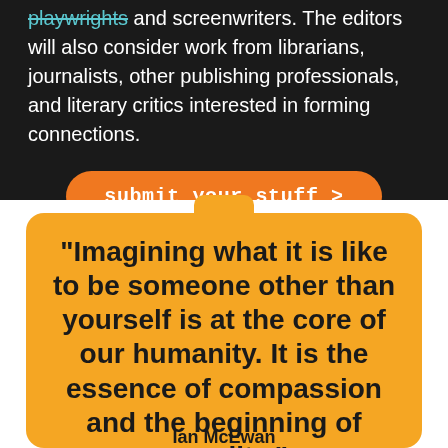playwrights and screenwriters. The editors will also consider work from librarians, journalists, other publishing professionals, and literary critics interested in forming connections.
submit your stuff >
“Imagining what it is like to be someone other than yourself is at the core of our humanity. It is the essence of compassion and the beginning of morality.”
Ian McEwan